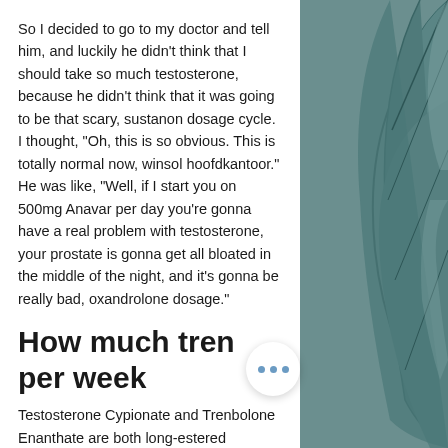So I decided to go to my doctor and tell him, and luckily he didn't think that I should take so much testosterone, because he didn't think that it was going to be that scary, sustanon dosage cycle. I thought, "Oh, this is so obvious. This is totally normal now, winsol hoofdkantoor." He was like, "Well, if I start you on 500mg Anavar per day you're gonna have a real problem with testosterone, your prostate is gonna get all bloated in the middle of the night, and it's gonna be really bad, oxandrolone dosage."
How much tren per week
Testosterone Cypionate and Trenbolone Enanthate are both long-estered anabolic steroids and therefore are best suited for longer cycles (in this case, the aim is a 3 month or 12 week cycle of each)while dose, long acting (5-10mg) testosterone cypionate is best suited when cycling the
[Figure (photo): Close-up photo of agave or succulent plant leaves in blue-green tones]